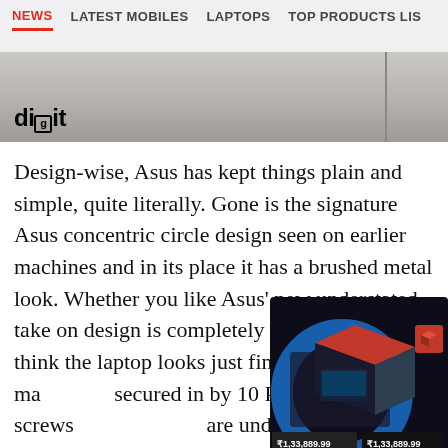NEWS   LATEST MOBILES   LAPTOPS   TOP PRODUCTS LIS
[Figure (photo): Partial image of a laptop with a 'digit' logo watermark in the bottom-left corner. The image shows a brushed metal surface of the laptop, cropped.]
Design-wise, Asus has kept things plain and simple, quite literally. Gone is the signature Asus concentric circle design seen on earlier machines and in its place it has a brushed metal look. Whether you like Asus' new understated take on design is completely up to you, but I think the laptop looks just fine. The base of the machine is secured in by 10 Philips head screws, two of which are under the rear rubber feet. Needless to say, you will void your two-year warranty on the machine by doing so. Anyway, taking off the back cover gives you access to the dual RAM slots, HDD drive, and the M.2 SSD storage. The battery and WiFi module
[Figure (photo): Advertisement box showing a gaming laptop product cube/box with price ₹1,33,889.99 shown twice, with blue circular design elements and digit branding.]